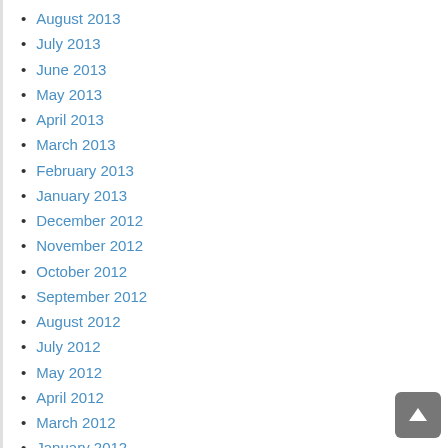August 2013
July 2013
June 2013
May 2013
April 2013
March 2013
February 2013
January 2013
December 2012
November 2012
October 2012
September 2012
August 2012
July 2012
May 2012
April 2012
March 2012
January 2012
December 2011
October 2011
September 2011
August 2011